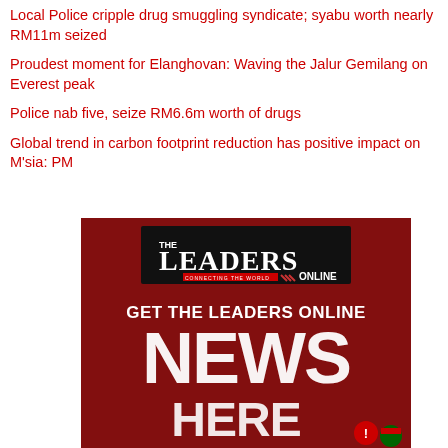Local Police cripple drug smuggling syndicate; syabu worth nearly RM11m seized
Proudest moment for Elanghovan: Waving the Jalur Gemilang on Everest peak
Police nab five, seize RM6.6m worth of drugs
Global trend in carbon footprint reduction has positive impact on M'sia: PM
[Figure (advertisement): The Leaders Online advertisement banner with 'GET THE LEADERS ONLINE NEWS HERE' text on dark red background]